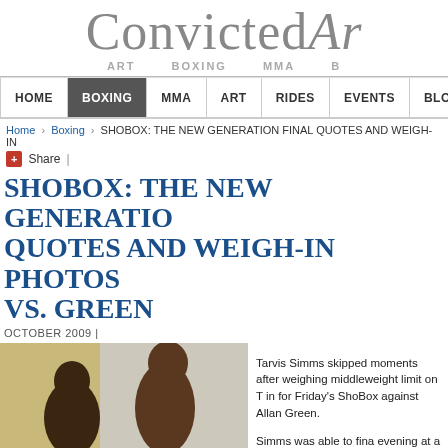Convicted Ar...
ART   BOXING   MMA   B...
HOME | BOXING | MMA | ART | RIDES | EVENTS | BLOG | PODCAST
Home › Boxing › SHOBOX: THE NEW GENERATION FINAL QUOTES AND WEIGH-IN...
+ Share |
SHOBOX: THE NEW GENERATION QUOTES AND WEIGH-IN PHOTOS VS. GREEN
OCTOBER 2009 |
[Figure (photo): Two male boxers standing side by side at a weigh-in, one shorter and darker-skinned on the left, one taller on the right, both shirtless]
Tarvis Simms skipped moments after weighing middleweight limit on T in for Friday's ShoBox against Allan Green.

Simms was able to fina evening at a previously Green weighed in at...